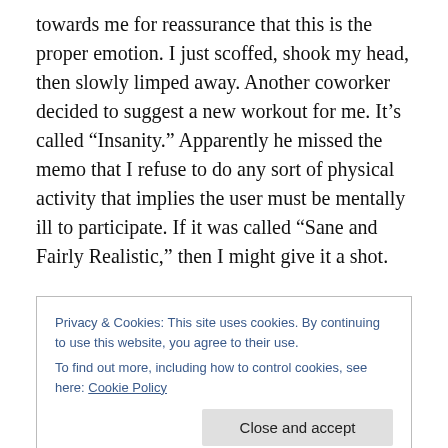towards me for reassurance that this is the proper emotion. I just scoffed, shook my head, then slowly limped away. Another coworker decided to suggest a new workout for me. It's called “Insanity.” Apparently he missed the memo that I refuse to do any sort of physical activity that implies the user must be mentally ill to participate. If it was called “Sane and Fairly Realistic,” then I might give it a shot.
Then there is the food. All I have wanted for the last few months is pizza. I want a pizza so badly that if I were to
Privacy & Cookies: This site uses cookies. By continuing to use this website, you agree to their use.
To find out more, including how to control cookies, see here: Cookie Policy
Close and accept
was an okay substitute for an actual pizza. I feel incredibly